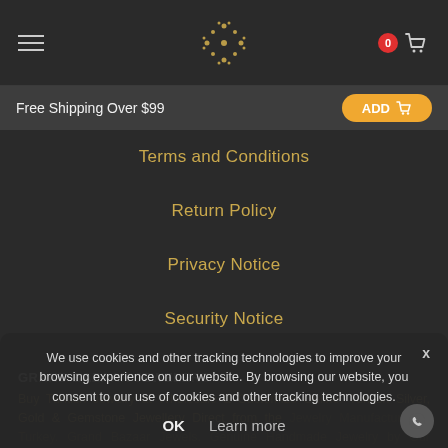Grand Bazaar Jewelers — navigation header with hamburger menu, logo, and cart icon (0 items)
Free Shipping Over $99
Terms and Conditions
Return Policy
Privacy Notice
Security Notice
GRAND BAZAAR JEWELERS
Buy Turkish Jewelry at Wholesale & Customize Online. Turkish Silver, Gold & Gemstone Jewellery Direct from the Jewelry Manufacturer in Turkey. Grand Bazaar Jewels. Genuine Handmade Jewelry by Our Artisans in Oil Silver, Sterling & ...
We use cookies and other tracking technologies to improve your browsing experience on our website. By browsing our website, you consent to our use of cookies and other tracking technologies.
OK   Learn more